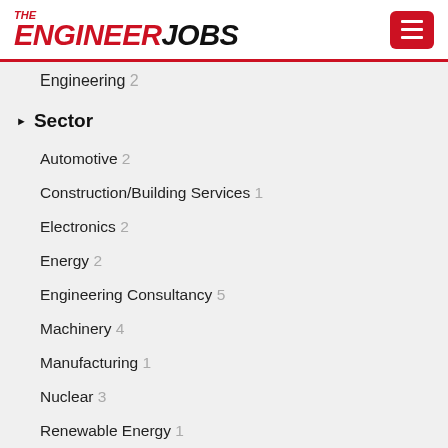THE ENGINEER JOBS
Engineering 2
Sector
Automotive 2
Construction/Building Services 1
Electronics 2
Energy 2
Engineering Consultancy 5
Machinery 4
Manufacturing 1
Nuclear 3
Renewable Energy 1
Function
Salary Range